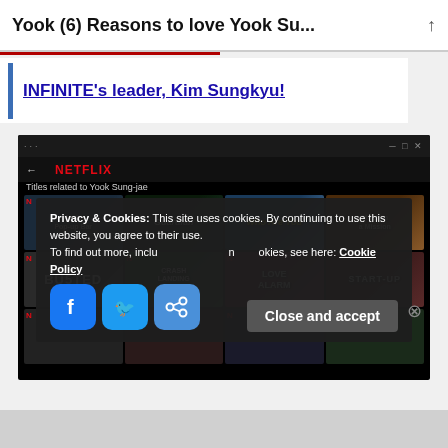Yook (6) Reasons to love Yook Su...
INFINITE's leader, Kim Sungkyu!
[Figure (screenshot): Netflix browser window showing 'Titles related to Yook Sung-jae' with a grid of Korean drama thumbnails including Mystic Pop-up Bar, Guardian, Who Are You, Meet on a Mission, Busted, Crash Landing on You, Love Alarm, Start-Up, and others. A cookie consent overlay appears at the bottom with Facebook, Twitter, and share social buttons, and a 'Close and accept' button.]